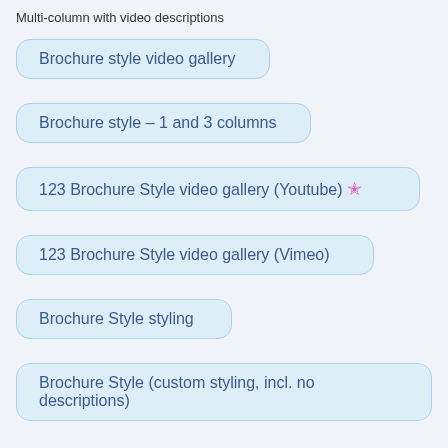Multi-column with video descriptions
Brochure style video gallery
Brochure style – 1 and 3 columns
123 Brochure Style video gallery (Youtube) ⭐
123 Brochure Style video gallery (Vimeo)
Brochure Style styling
Brochure Style (custom styling, incl. no descriptions)